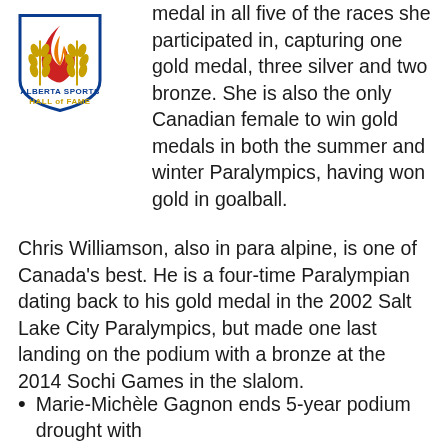[Figure (logo): Alberta Sports Hall of Fame logo with shield shape, flame icon, and wheat sheaf]
medal in all five of the races she participated in, capturing one gold medal, three silver and two bronze. She is also the only Canadian female to win gold medals in both the summer and winter Paralympics, having won gold in goalball.
Chris Williamson, also in para alpine, is one of Canada's best. He is a four-time Paralympian dating back to his gold medal in the 2002 Salt Lake City Paralympics, but made one last landing on the podium with a bronze at the 2014 Sochi Games in the slalom.
Marie-Michèle Gagnon ends 5-year podium drought with